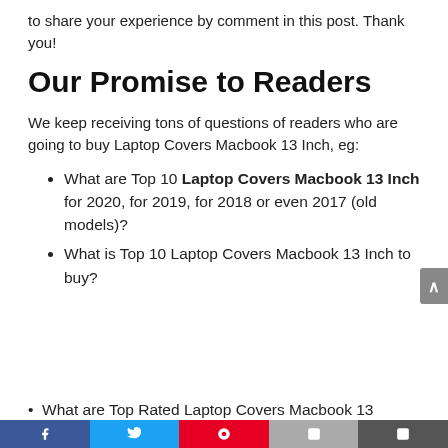to share your experience by comment in this post. Thank you!
Our Promise to Readers
We keep receiving tons of questions of readers who are going to buy Laptop Covers Macbook 13 Inch, eg:
What are Top 10 Laptop Covers Macbook 13 Inch for 2020, for 2019, for 2018 or even 2017 (old models)?
What is Top 10 Laptop Covers Macbook 13 Inch to buy?
What are Top Rated Laptop Covers Macbook 13